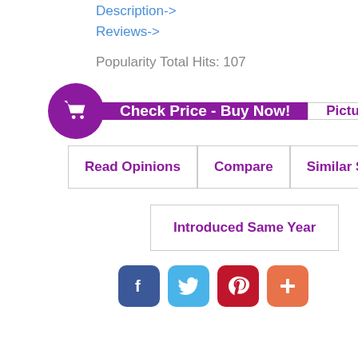Description->
Reviews->
Popularity Total Hits: 107
Check Price - Buy Now!
Pictures
Videos
Read Opinions
Compare
Similar Scents
Introduced Same Year
[Figure (other): Social media share buttons: Facebook (blue), Twitter (light blue), Pinterest (red), Plus/share (orange)]